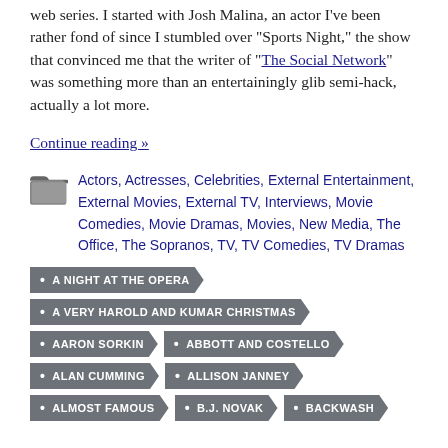web series. I started with Josh Malina, an actor I've been rather fond of since I stumbled over "Sports Night," the show that convinced me that the writer of "The Social Network" was something more than an entertainingly glib semi-hack, actually a lot more.
Continue reading »
Actors, Actresses, Celebrities, External Entertainment, External Movies, External TV, Interviews, Movie Comedies, Movie Dramas, Movies, New Media, The Office, The Sopranos, TV, TV Comedies, TV Dramas
A NIGHT AT THE OPERA
A VERY HAROLD AND KUMAR CHRISTMAS
AARON SORKIN
ABBOTT AND COSTELLO
ALAN CUMMING
ALLISON JANNEY
ALMOST FAMOUS
B.J. NOVAK
BACKWASH